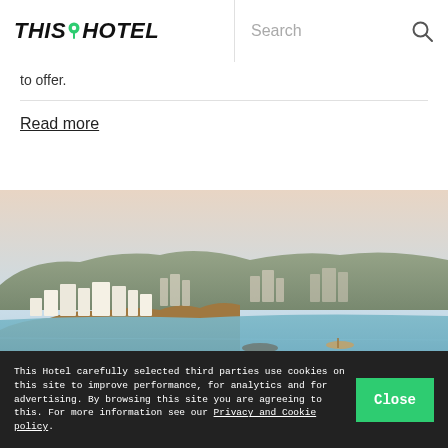THIS HOTEL | Search
to offer.
Read more
[Figure (photo): Aerial/coastal view of a Mediterranean town built on rocky cliffs overlooking turquoise water, with white buildings, hillside development, and a small boat visible on the sea.]
This Hotel carefully selected third parties use cookies on this site to improve performance, for analytics and for advertising. By browsing this site you are agreeing to this. For more information see our Privacy and Cookie policy.